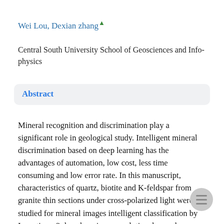Wei Lou, Dexian zhang▲
Central South University School of Geosciences and Info-physics
Abstract
Mineral recognition and discrimination play a significant role in geological study. Intelligent mineral discrimination based on deep learning has the advantages of automation, low cost, less time consuming and low error rate. In this manuscript, characteristics of quartz, biotite and K-feldspar from granite thin sections under cross-polarized light were studied for mineral images intelligent classification by Inception-v3 deep learning convolutional neural network (CNN), and transfer learning method. Dynamic images from multi-angles were employed to